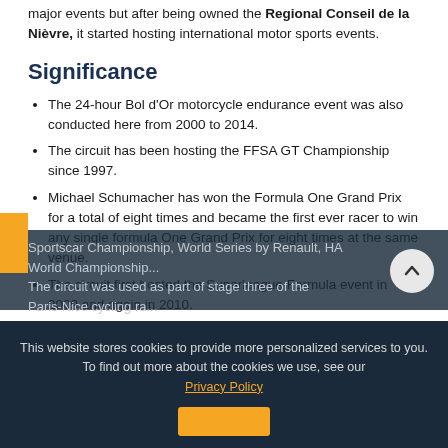major events but after being owned the Regional Conseil de la Nièvre, it started hosting international motor sports events.
Significance
The 24-hour Bol d'Or motorcycle endurance event was also conducted here from 2000 to 2014.
The circuit has been hosting the FFSA GT Championship since 1997.
Michael Schumacher has won the Formula One Grand Prix for a total of eight times and became the first ever racer to win any single formula One Grand Prix for eight times at the same venue.
The circuit first hosted the Superleague Formula event in 2009 and again in 2010.
It has hosted the Formula One French Grand Prix from 1991 (succeeding the Circuit Paul Ricard) to 2008. It has also hosted French Motorcycle Grand Prix back in 1992.
The circuit also hosted international championships such as World Touring Car Championship, World Sportscar Championship, World Series by Renault, HA World Championship...
The circuit was used as part of stage three of the Paris-Nice cycling race.
This website stores cookies to provide more personalized services to you. To find out more about the cookies we use, see our Privacy Policy